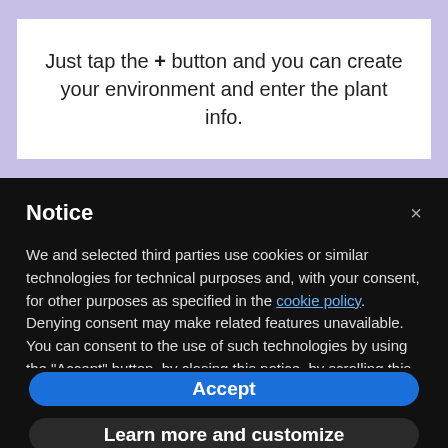Just tap the + button and you can create your environment and enter the plant info.
Notice
We and selected third parties use cookies or similar technologies for technical purposes and, with your consent, for other purposes as specified in the cookie policy. Denying consent may make related features unavailable. You can consent to the use of such technologies by using the "Accept" button, by closing this notice, by scrolling this page, by interacting with any link or button outside of this notice or by continuing to browse otherwise.
Accept
Learn more and customize